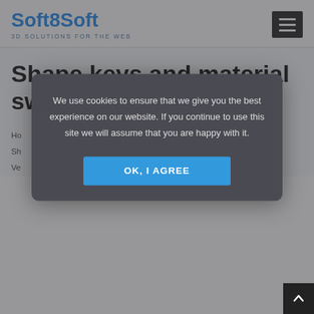[Figure (logo): Soft8Soft logo with blue stylized text and tagline '3D SOLUTIONS FOR THE WEB']
[Figure (other): Hamburger menu icon (three white lines on black background)]
Shape keys and material switching in Blender 3
Ho
Sh
Ve
We use cookies to ensure that we give you the best experience on our website. If you continue to use this site we will assume that you are happy with it.
OK, I AGREE